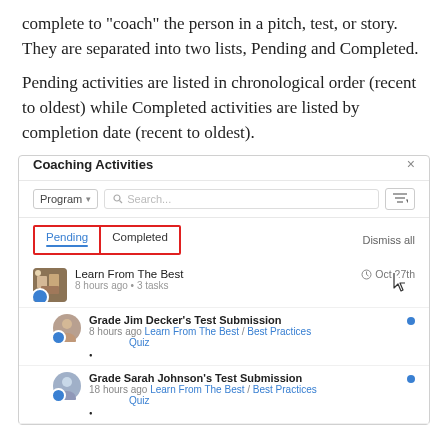complete to “coach” the person in a pitch, test, or story. They are separated into two lists, Pending and Completed.
Pending activities are listed in chronological order (recent to oldest) while Completed activities are listed by completion date (recent to oldest).
[Figure (screenshot): Screenshot of a Coaching Activities modal panel showing Program dropdown, search box, Pending and Completed tabs (Pending selected, highlighted with red border), Dismiss all button, and a list of coaching activities including 'Learn From The Best' with sub-items 'Grade Jim Decker’s Test Submission' and 'Grade Sarah Johnson’s Test Submission', each linked to Learn From The Best / Best Practices Quiz.]